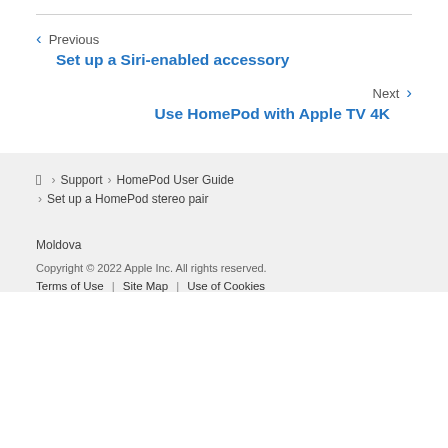Previous
Set up a Siri-enabled accessory
Next
Use HomePod with Apple TV 4K
Support > HomePod User Guide > Set up a HomePod stereo pair
Moldova
Copyright © 2022 Apple Inc. All rights reserved. Terms of Use | Site Map | Use of Cookies